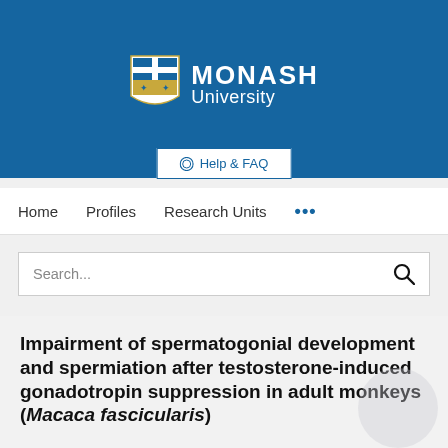[Figure (logo): Monash University logo with shield crest and white text on blue background]
Help & FAQ
Home   Profiles   Research Units   ...
Search...
Impairment of spermatogonial development and spermiation after testosterone-induced gonadotropin suppression in adult monkeys (Macaca fascicularis)